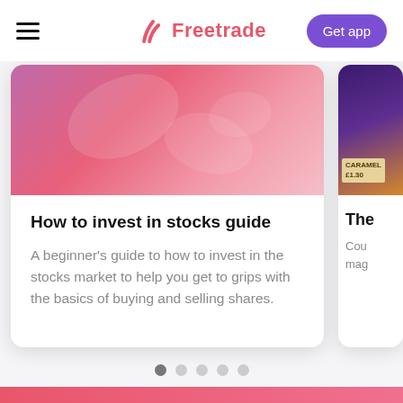Freetrade — Get app
[Figure (illustration): Pink abstract gradient banner image for the How to invest in stocks guide card]
How to invest in stocks guide
A beginner's guide to how to invest in the stocks market to help you get to grips with the basics of buying and selling shares.
[Figure (photo): Partially visible second card showing a chocolate/food product image with label reading approximately 'CARAMEL £1.30']
The
Cou
mag